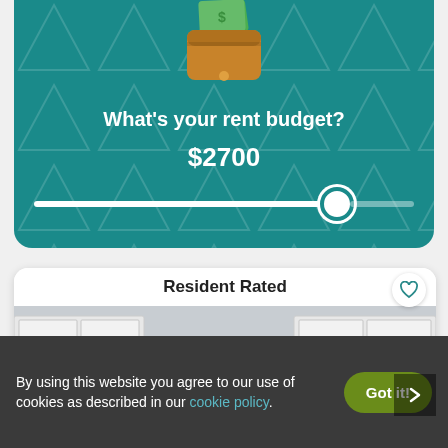[Figure (screenshot): Teal card with wallet icon, rent budget question, $2700 value, and slider control]
What's your rent budget?
$2700
[Figure (screenshot): Resident Rated apartment listing card with kitchen photo and heart/arrow buttons]
Resident Rated
By using this website you agree to our use of cookies as described in our cookie policy.
Got it!